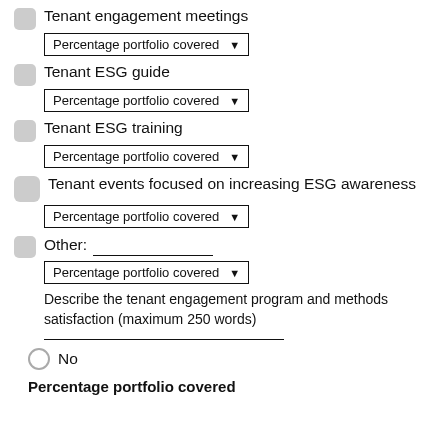Tenant engagement meetings
Percentage portfolio covered [dropdown]
Tenant ESG guide
Percentage portfolio covered [dropdown]
Tenant ESG training
Percentage portfolio covered [dropdown]
Tenant events focused on increasing ESG awareness
Percentage portfolio covered [dropdown]
Other: ___________
Percentage portfolio covered [dropdown]
Describe the tenant engagement program and methods satisfaction (maximum 250 words)
No
Percentage portfolio covered